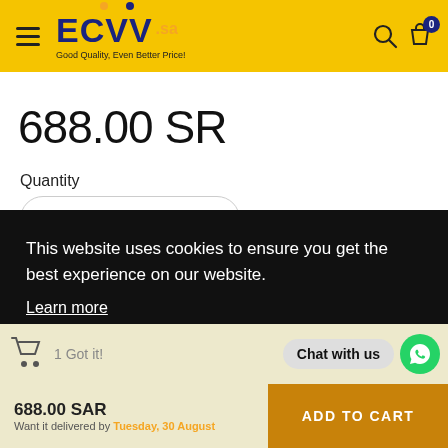[Figure (screenshot): ECVV.sa e-commerce website header with yellow background, hamburger menu, ECVV logo, search and bag icons with badge 0]
688.00 SR
Quantity
1
Buy It Now
This website uses cookies to ensure you get the best experience on our website.
Learn more
1 Got it!
Chat with us
688.00 SAR
ADD TO CART
Want it delivered by Tuesday, 30 August